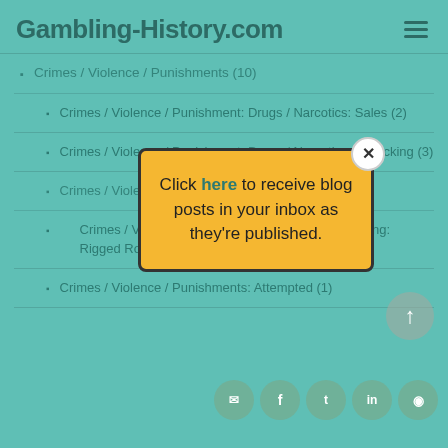Gambling-History.com
Crimes / Violence / Punishments (10)
Crimes / Violence / Punishment: Drugs / Narcotics: Sales (2)
Crimes / Violence / Punishment: Drugs / Narcotics: Trafficking (3)
Crimes / Violence / Punishments: Assaults (1)
Crimes / Violence / Punishments: Cheating / Fleecing: Rigged Roulette Wheel (2)
Crimes / Violence / Punishments: Attempted (1)
[Figure (screenshot): Yellow popup box with text: Click here to receive blog posts in your inbox as they're published. With an X close button.]